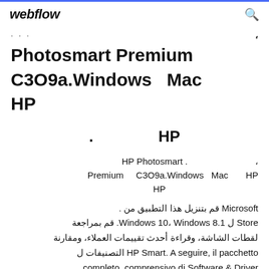webflow  Q
Photosmart Premium C3O9a.Windows  Mac  HP
HP  .
, . HP Photosmart Premium C3O9a.Windows Mac HP HP
Microsoft قم بتنزيل هذا التطبيق من . قم بمراجعة Windows 10، Windows 8.1. ل Store لقطات الشاشة، وقراءة أحدث تقييمات العملاء، ومقارنة التصنيفات ل HP Smart. A seguire, il pacchetto completo, comprensivo di Software & Driver compatibili con la Stampante Multifunzione Hp